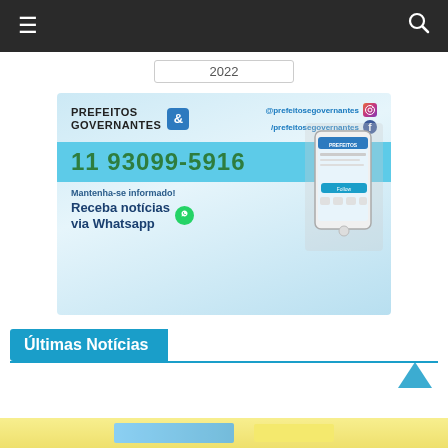≡  [navigation bar with hamburger menu and search icon]
2022
[Figure (illustration): Advertisement banner for Prefeitos & Governantes showing logo, social media handles (@prefeitosegovernantes on Instagram and /prefeitosegovernantes on Facebook), phone number 11 93099-5916, and text 'Mantenha-se informado! Receba notícias via Whatsapp' with a WhatsApp icon and a hand holding a smartphone]
Últimas Notícias
[Figure (photo): Bottom strip showing partial view of a news article image with yellow tones]